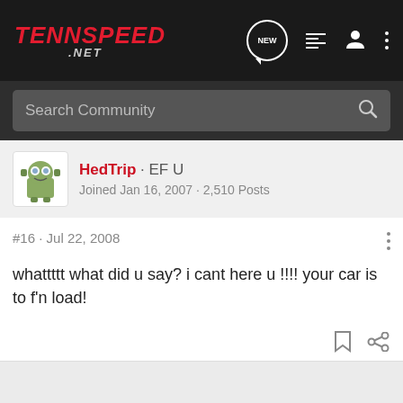TennSpeed .NET
Search Community
HedTrip · EF U
Joined Jan 16, 2007 · 2,510 Posts
#16 · Jul 22, 2008
whattttt what did u say? i cant here u !!!! your car is to f'n load!